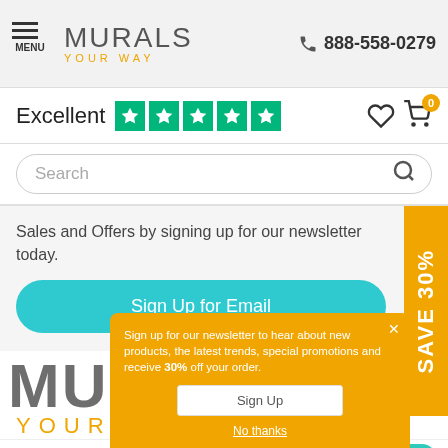MENU | MURALS YOUR WAY | 888-558-0279
Excellent ★★★★★
Search
Sales and Offers by signing up for our newsletter today.
Sign Up for Email
SAVE 30%
[Figure (logo): Murals Your Way large logo with gray MURALS text and orange YOUR WAY subtitle]
VISA | Pay | American Express
Sign up for our newsletter to hear about new products, the latest trends, special promotions and receive 30% off your order.
Sign Up
No thanks